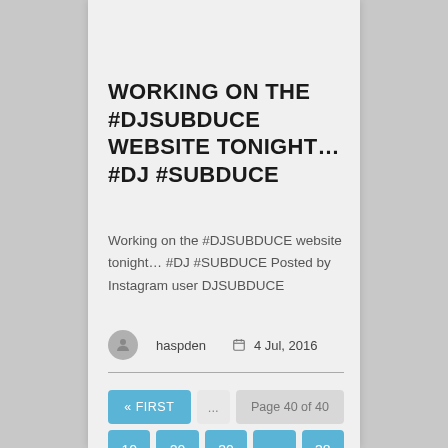WORKING ON THE #DJSUBDUCE WEBSITE TONIGHT… #DJ #SUBDUCE
Working on the #DJSUBDUCE website tonight… #DJ #SUBDUCE Posted by Instagram user DJSUBDUCE
haspden   4 Jul, 2016